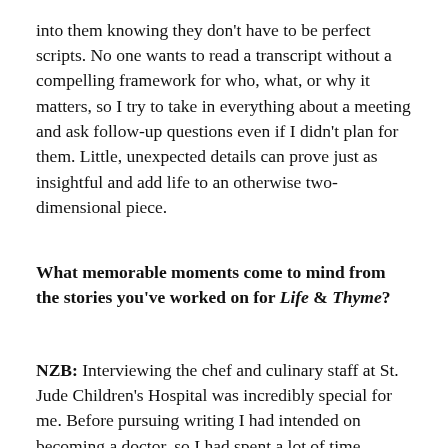into them knowing they don't have to be perfect scripts. No one wants to read a transcript without a compelling framework for who, what, or why it matters, so I try to take in everything about a meeting and ask follow-up questions even if I didn't plan for them. Little, unexpected details can prove just as insightful and add life to an otherwise two-dimensional piece.
What memorable moments come to mind from the stories you've worked on for Life & Thyme?
NZB: Interviewing the chef and culinary staff at St. Jude Children's Hospital was incredibly special for me. Before pursuing writing I had intended on becoming a doctor, so I had spent a lot of time working and volunteering specifically in pediatric